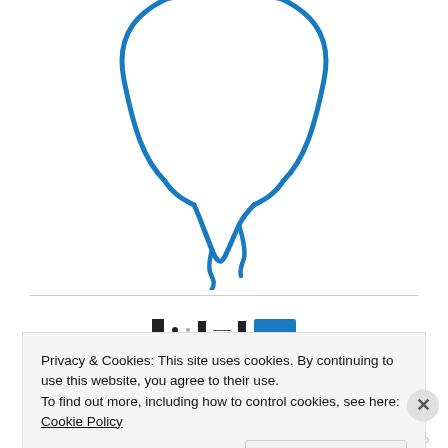[Figure (illustration): A blue hand-drawn style illustration of a tooth with roots, shown from the front. The tooth has a crown with two cusps and stylized zigzag roots at the bottom.]
Privacy & Cookies: This site uses cookies. By continuing to use this website, you agree to their use.
To find out more, including how to control cookies, see here: Cookie Policy
Close and accept